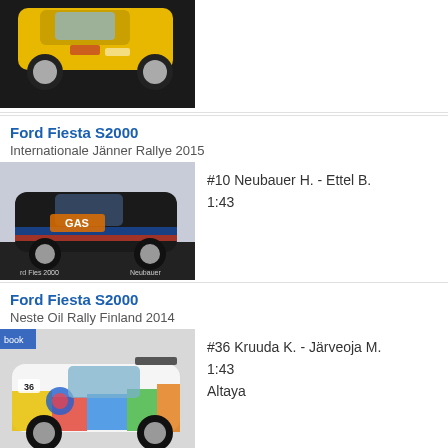[Figure (photo): Top cropped photo of a yellow rally car model (partial, top of page)]
Ford Fiesta S2000
Internationale Jänner Rallye 2015
[Figure (photo): Photo of a black Ford Fiesta S2000 rally car model with GAS livery, #10 Neubauer]
#10 Neubauer H. - Ettel B.
1:43
Ford Fiesta S2000
Neste Oil Rally Finland 2014
[Figure (photo): Photo of a colorful Ford Fiesta S2000 rally car model with graffiti-style livery, #36 Kruuda K.]
#36 Kruuda K. - Järveoja M.
1:43
Altaya